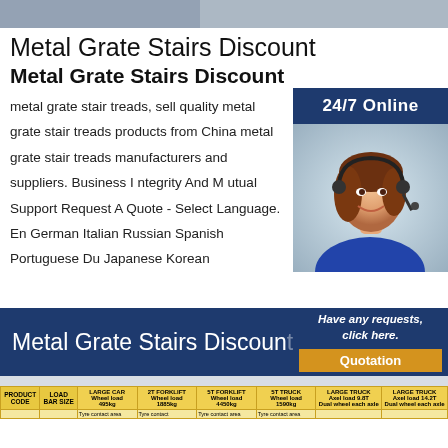[Figure (photo): Top banner photo showing metal grate/stair product image]
Metal Grate Stairs Discount
Metal Grate Stairs Discount
metal grate stair treads, sell quality metal grate stair treads products from China metal grate stair treads manufacturers and suppliers. Business I ntegrity And M utual Support Request A Quote - Select Language. En German Italian Russian Spanish Portuguese Du Japanese Korean
[Figure (photo): 24/7 Online customer service representative with headset]
[Figure (infographic): Blue banner with text Metal Grate Stairs Discount and sidebar with Have any requests, click here. and Quotation button]
| PRODUCT CODE | LOAD BAR SIZE | LARGE CAR Wheel load 495kg | 2T FORKLIFT Wheel load 1885kg | 5T FORKLIFT Wheel load 4450kg | 5T TRUCK Wheel load 1590kg | LARGE TRUCK Axel load 9.8T Dual wheel each axle | LARGE TRUCK Axel load 14.2T Dual wheel each axle |
| --- | --- | --- | --- | --- | --- | --- | --- |
|  |  | Tyre contact area | Tyre contact | Tyre contact area | Tyre contact area |  |  |